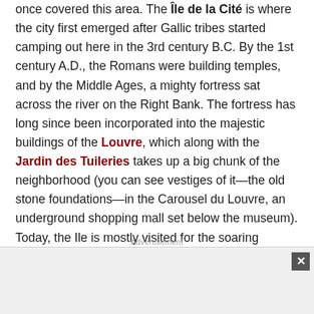once covered this area. The Île de la Cité is where the city first emerged after Gallic tribes started camping out here in the 3rd century B.C. By the 1st century A.D., the Romans were building temples, and by the Middle Ages, a mighty fortress sat across the river on the Right Bank. The fortress has long since been incorporated into the majestic buildings of the Louvre, which along with the Jardin des Tuileries takes up a big chunk of the neighborhood (you can see vestiges of it—the old stone foundations—in the Carousel du Louvre, an underground shopping mall set below the museum). Today, the Ile is mostly visited for the soaring Cathedral of Notre-Dame and the gemlike St-Chapelle, along with the historic Conciergerie.
Advertisement